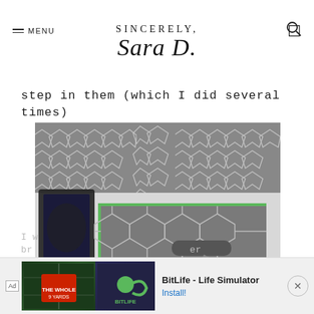SINCERELY, Sara D.
step in them (which I did several times)
[Figure (photo): Photo of a floor stenciling project in progress: gray geometric Moroccan-star pattern being applied to a white floor using a paint roller, with green painter's tape securing the stencil. A paint tray sits to the left.]
I w... br... er
[Figure (other): Advertisement banner: BitLife - Life Simulator app ad with The Whole 9 Yards and BitLife logos, Install! button]